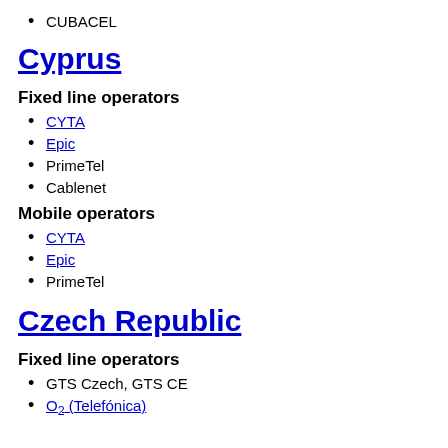CUBACEL
Cyprus
Fixed line operators
CYTA
Epic
PrimeTel
Cablenet
Mobile operators
CYTA
Epic
PrimeTel
Czech Republic
Fixed line operators
GTS Czech, GTS CE
O2 (Telefónica)